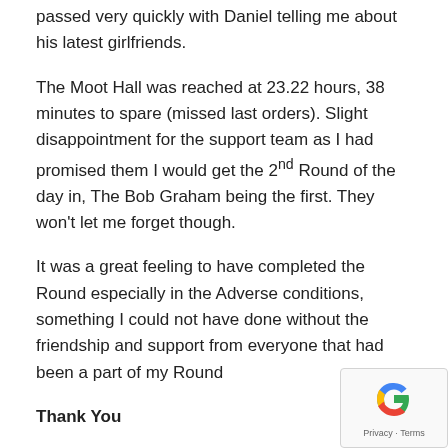passed very quickly with Daniel telling me about his latest girlfriends.
The Moot Hall was reached at 23.22 hours, 38 minutes to spare (missed last orders). Slight disappointment for the support team as I had promised them I would get the 2nd Round of the day in, The Bob Graham being the first. They won't let me forget though.
It was a great feeling to have completed the Round especially in the Adverse conditions, something I could not have done without the friendship and support from everyone that had been a part of my Round
Thank You
Note – To all at Saltwell I'm looking forward to supporting on any future B.G.R. attempts!